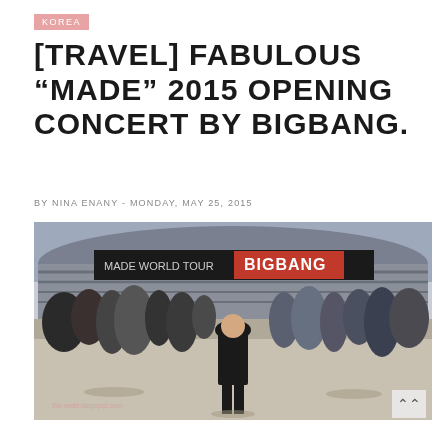KOREA
[TRAVEL] FABULOUS “MADE” 2015 OPENING CONCERT BY BIGBANG.
BY NINA ENANY - MONDAY, MAY 25, 2015
[Figure (photo): Crowd of people standing outside a large stadium with BIGBANG concert banners. A woman in black stands in the center foreground.]
the-matit.blogspot.com